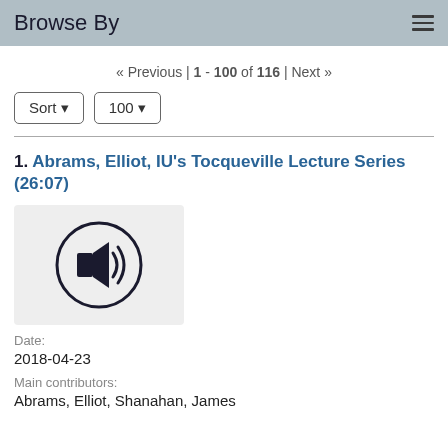Browse By
« Previous | 1 - 100 of 116 | Next »
Sort ▾   100 ▾
1. Abrams, Elliot, IU's Tocqueville Lecture Series (26:07)
[Figure (illustration): Audio icon: a speaker with sound waves inside a circle, on a light grey background]
Date:
2018-04-23
Main contributors:
Abrams, Elliot, Shanahan, James